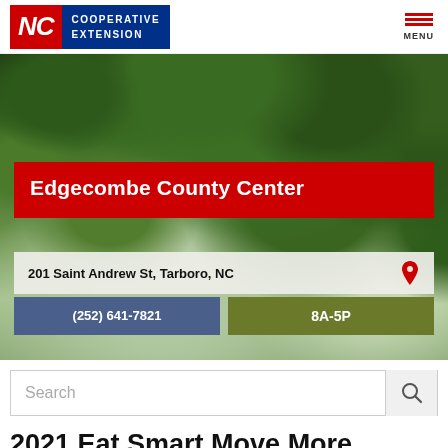[Figure (logo): NC Cooperative Extension logo — red NC block with blue COOPERATIVE EXTENSION text]
[Figure (illustration): Menu hamburger icon with three red horizontal bars and MENU label]
[Figure (photo): Hero photo of green tree canopy / leaves background]
Edgecombe County Center
201 Saint Andrew St, Tarboro, NC
(252) 641-7821
8A-5P
Search
2021 Eat Smart Move More